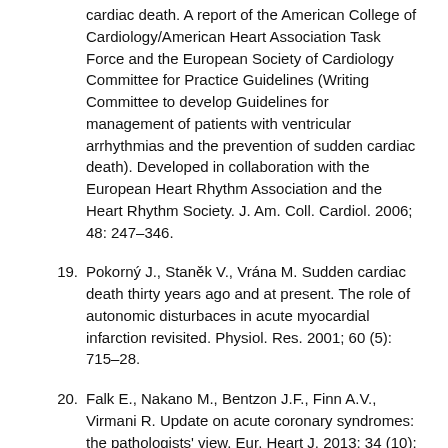cardiac death. A report of the American College of Cardiology/American Heart Association Task Force and the European Society of Cardiology Committee for Practice Guidelines (Writing Committee to develop Guidelines for management of patients with ventricular arrhythmias and the prevention of sudden cardiac death). Developed in collaboration with the European Heart Rhythm Association and the Heart Rhythm Society. J. Am. Coll. Cardiol. 2006; 48: 247–346.
19. Pokorný J., Staněk V., Vrána M. Sudden cardiac death thirty years ago and at present. The role of autonomic disturbaces in acute myocardial infarction revisited. Physiol. Res. 2001; 60 (5): 715–28.
20. Falk E., Nakano M., Bentzon J.F., Finn A.V., Virmani R. Update on acute coronary syndromes: the pathologists' view. Eur. Heart J. 2013; 34 (10): 719–28.